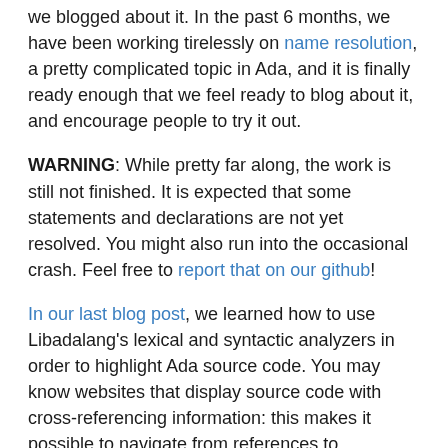we blogged about it. In the past 6 months, we have been working tirelessly on name resolution, a pretty complicated topic in Ada, and it is finally ready enough that we feel ready to blog about it, and encourage people to try it out.
WARNING: While pretty far along, the work is still not finished. It is expected that some statements and declarations are not yet resolved. You might also run into the occasional crash. Feel free to report that on our github!
In our last blog post, we learned how to use Libadalang's lexical and syntactic analyzers in order to highlight Ada source code. You may know websites that display source code with cross-referencing information: this makes it possible to navigate from references to declarations. For instance elixir, Free Electrons' Linux source code explorer: go to a random source file and click on an identifier. This kind of tool makes it very easy to explore an unknown code base.
So, we extended our code highlighter to generate